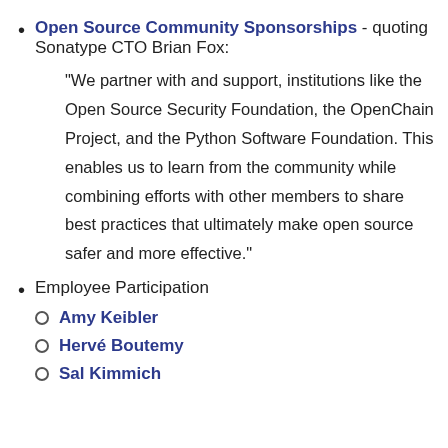Open Source Community Sponsorships - quoting Sonatype CTO Brian Fox: "We partner with and support, institutions like the Open Source Security Foundation, the OpenChain Project, and the Python Software Foundation. This enables us to learn from the community while combining efforts with other members to share best practices that ultimately make open source safer and more effective."
Employee Participation
Amy Keibler
Hervé Boutemy
Sal Kimmich